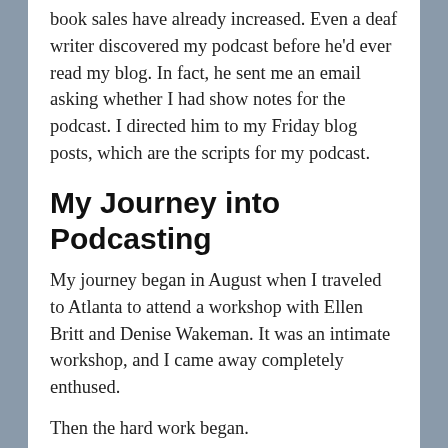book sales have already increased. Even a deaf writer discovered my podcast before he'd ever read my blog. In fact, he sent me an email asking whether I had show notes for the podcast. I directed him to my Friday blog posts, which are the scripts for my podcast.
My Journey into Podcasting
My journey began in August when I traveled to Atlanta to attend a workshop with Ellen Britt and Denise Wakeman. It was an intimate workshop, and I came away completely enthused.
Then the hard work began.
First, I defined my audience and the goal for my podcast. I also decided that my podcast would air weekly and that I would keep the episodes